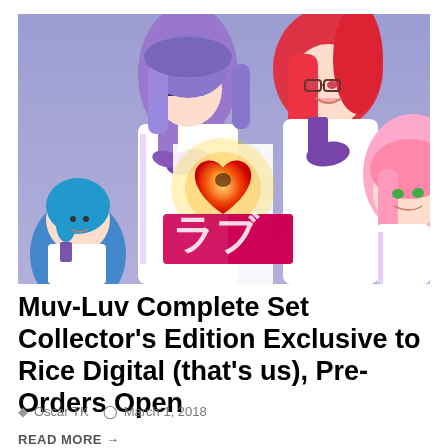[Figure (illustration): Anime-style illustration showing multiple characters in purple and white uniforms, one with blue hair, one with purple hair, one with red/pink hair, and one with pink hair. A glowing heart shape is prominent in the center foreground with stylized Japanese game logo text below.]
Muv-Luv Complete Set Collector's Edition Exclusive to Rice Digital (that's us), Pre-Orders Open
Oscar TK   March 1, 2018
READ MORE